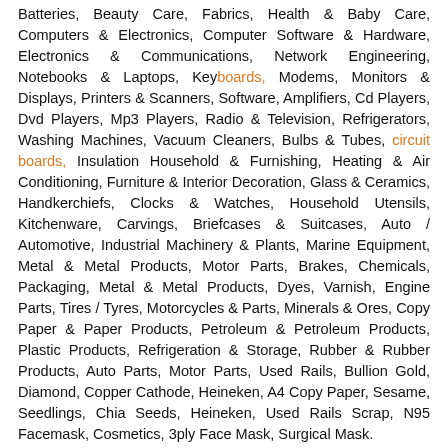Batteries, Beauty Care, Fabrics, Health & Baby Care, Computers & Electronics, Computer Software & Hardware, Electronics & Communications, Network Engineering, Notebooks & Laptops, Keyboards, Modems, Monitors & Displays, Printers & Scanners, Software, Amplifiers, Cd Players, Dvd Players, Mp3 Players, Radio & Television, Refrigerators, Washing Machines, Vacuum Cleaners, Bulbs & Tubes, circuit boards, Insulation Household & Furnishing, Heating & Air Conditioning, Furniture & Interior Decoration, Glass & Ceramics, Handkerchiefs, Clocks & Watches, Household Utensils, Kitchenware, Carvings, Briefcases & Suitcases, Auto / Automotive, Industrial Machinery & Plants, Marine Equipment, Metal & Metal Products, Motor Parts, Brakes, Chemicals, Packaging, Metal & Metal Products, Dyes, Varnish, Engine Parts, Tires / Tyres, Motorcycles & Parts, Minerals & Ores, Copy Paper & Paper Products, Petroleum & Petroleum Products, Plastic Products, Refrigeration & Storage, Rubber & Rubber Products, Auto Parts, Motor Parts, Used Rails, Bullion Gold, Diamond, Copper Cathode, Heineken, A4 Copy Paper, Sesame, Seedlings, Chia Seeds, Heineken, Used Rails Scrap, N95 Facemask, Cosmetics, 3ply Face Mask, Surgical Mask.
Member since: 11-Nov-2019
Yr of Est: 2015
Country/region: Kenya / Nairobi